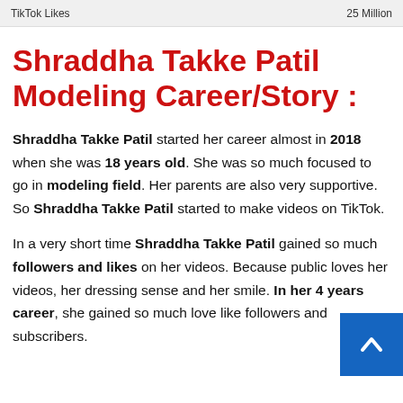| TikTok Likes | 25 Million |
| --- | --- |
Shraddha Takke Patil Modeling Career/Story :
Shraddha Takke Patil started her career almost in 2018 when she was 18 years old. She was so much focused to go in modeling field. Her parents are also very supportive. So Shraddha Takke Patil started to make videos on TikTok.
In a very short time Shraddha Takke Patil gained so much followers and likes on her videos. Because public loves her videos, her dressing sense and her smile. In her 4 years career, she gained so much love like followers and subscribers.